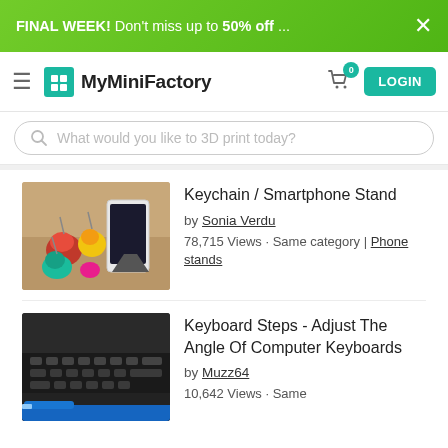FINAL WEEK! Don't miss up to 50% off ...
[Figure (screenshot): MyMiniFactory website navigation bar with logo, cart icon with badge 0, and LOGIN button]
What would you like to 3D print today?
[Figure (photo): Photo of colorful 3D printed keychains (red, yellow, teal animal figures) next to a white smartphone propped up as a stand, on a tan/beige surface]
Keychain / Smartphone Stand
by Sonia Verdu
78,715 Views · Same category | Phone stands
[Figure (photo): Photo of a computer keyboard viewed from the side, showing stepped risers underneath, with a blue accent element at the bottom]
Keyboard Steps - Adjust The Angle Of Computer Keyboards
by Muzz64
10,642 Views · Same